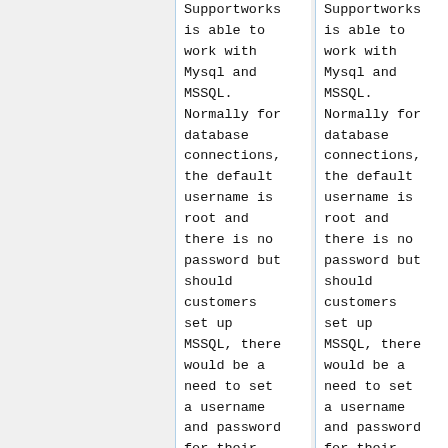Supportworks is able to work with Mysql and MSSQL. Normally for database connections, the default username is root and there is no password but should customers set up MSSQL, there would be a need to set a username and password for their
Supportworks is able to work with Mysql and MSSQL. Normally for database connections, the default username is root and there is no password but should customers set up MSSQL, there would be a need to set a username and password for their